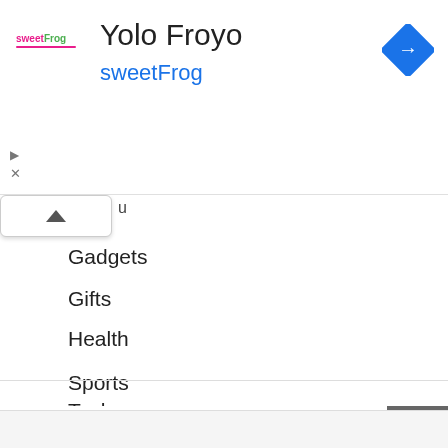[Figure (screenshot): sweetFrog logo - colorful text logo]
Yolo Froyo
sweetFrog
[Figure (other): Blue diamond turn navigation icon]
Gadgets
Gifts
Health
Lifestyle
Sports
Tech
Travel
✕ close
[Figure (logo): Peet's Coffee logo]
Peet's Brown Sugar Summer Sips
Peet's Coffee
[Figure (other): Blue diamond turn navigation icon]